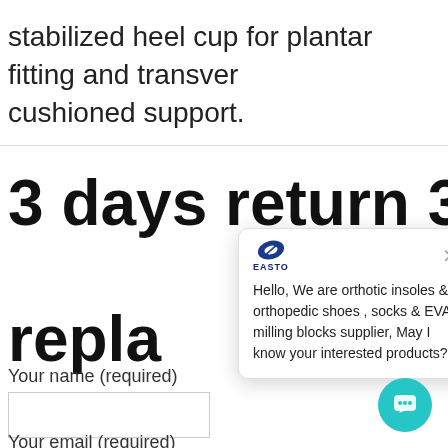stabilized heel cup for plantar fitting and transver cushioned support.
3 days return 30 d repla
Your name (required)
[Figure (screenshot): Chat popup widget showing EASTO logo with message: Hello, We are orthotic insoles & orthopedic shoes , socks & EVA milling blocks supplier, May I know your interested products? With a close (X) button and a teal chat bubble button in the bottom right.]
Your email (required)